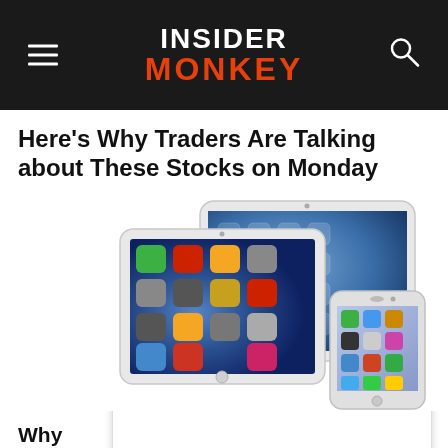INSIDER MONKEY
Here's Why Traders Are Talking about These Stocks on Monday
[Figure (photo): Apple devices including two iPads (one iPad mini and one iPad Air/standard) and an iPhone 5s displayed against a white background, showing iOS home screens with app icons.]
Why ... Are Tren...